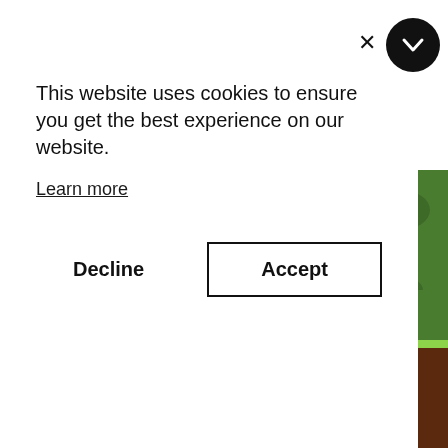[Figure (photo): Cookie consent dialog overlay on a webpage showing a photo of a hand holding a large heirloom tomato in a garden, with a brown banner at the bottom reading 'Heirloom Tomato' and a green circle with the number 16]
This website uses cookies to ensure you get the best experience on our website.
Learn more
Decline
Accept
Heirloom Tomato